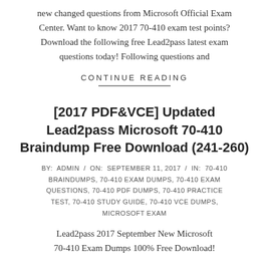new changed questions from Microsoft Official Exam Center. Want to know 2017 70-410 exam test points? Download the following free Lead2pass latest exam questions today! Following questions and
CONTINUE READING
[2017 PDF&VCE] Updated Lead2pass Microsoft 70-410 Braindump Free Download (241-260)
BY: ADMIN / ON: SEPTEMBER 11, 2017 / IN: 70-410 BRAINDUMPS, 70-410 EXAM DUMPS, 70-410 EXAM QUESTIONS, 70-410 PDF DUMPS, 70-410 PRACTICE TEST, 70-410 STUDY GUIDE, 70-410 VCE DUMPS, MICROSOFT EXAM
Lead2pass 2017 September New Microsoft 70-410 Exam Dumps 100% Free Download!